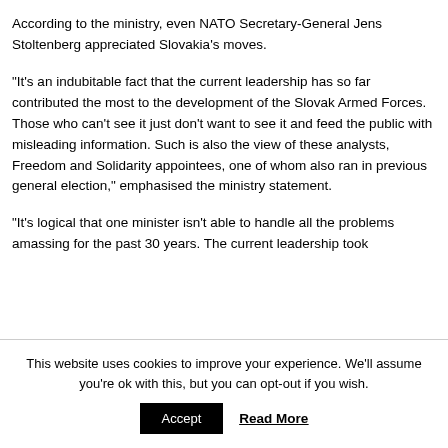According to the ministry, even NATO Secretary-General Jens Stoltenberg appreciated Slovakia's moves.
“It’s an indubitable fact that the current leadership has so far contributed the most to the development of the Slovak Armed Forces. Those who can’t see it just don’t want to see it and feed the public with misleading information. Such is also the view of these analysts, Freedom and Solidarity appointees, one of whom also ran in previous general election,” emphasised the ministry statement.
“It’s logical that one minister isn’t able to handle all the problems amassing for the past 30 years. The current leadership took
This website uses cookies to improve your experience. We’ll assume you’re ok with this, but you can opt-out if you wish.
Accept
Read More